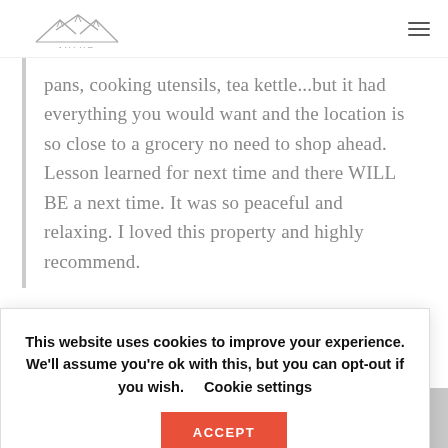AVLVR
pans, cooking utensils, tea kettle...but it had everything you would want and the location is so close to a grocery no need to shop ahead. Lesson learned for next time and there WILL BE a next time. It was so peaceful and relaxing. I loved this property and highly recommend.
This website uses cookies to improve your experience. We'll assume you're ok with this, but you can opt-out if you wish.  Cookie settings  ACCEPT